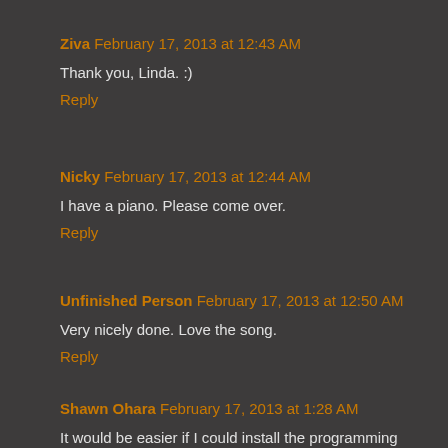Ziva February 17, 2013 at 12:43 AM
Thank you, Linda. :)
Reply
Nicky February 17, 2013 at 12:44 AM
I have a piano. Please come over.
Reply
Unfinished Person February 17, 2013 at 12:50 AM
Very nicely done. Love the song.
Reply
Shawn Ohara February 17, 2013 at 1:28 AM
It would be easier if I could install the programming into my